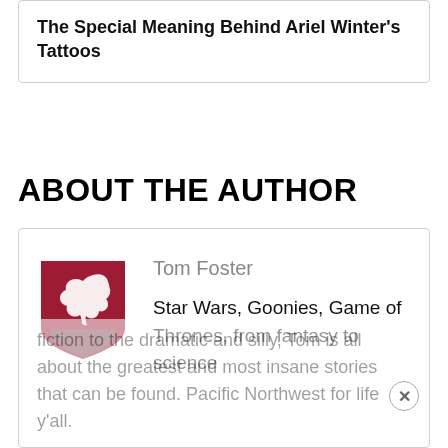The Special Meaning Behind Ariel Winter's Tattoos
ABOUT THE AUTHOR
[Figure (logo): Washington State University (WSU) crimson and grey shield logo with Cougar head]
Tom Foster
Star Wars, Goonies, Game of Thrones, from fantasy to science fiction to the dramatic and silly, Tom is all about the greatest and most insane stories that can be found. Pacific Northwest for life y'all.